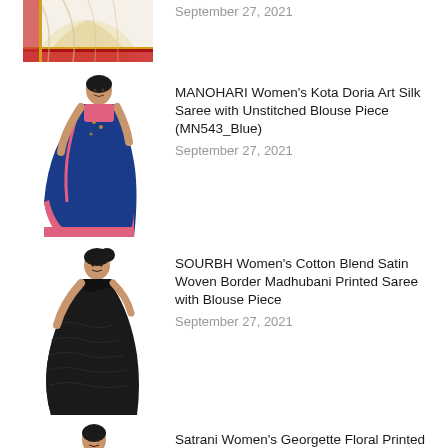[Figure (photo): Partial view of a beige/cream and red traditional saree (top cropped)]
September 27, 2021
[Figure (photo): Woman wearing a blue and pink MANOHARI Kota Doria Art Silk Saree]
MANOHARI Women’s Kota Doria Art Silk Saree with Unstitched Blouse Piece (MN543_Blue)
September 27, 2021
[Figure (photo): Woman wearing a black SOURBH Cotton Blend Satin Woven Border Madhubani Printed Saree]
SOURBH Women’s Cotton Blend Satin Woven Border Madhubani Printed Saree with Blouse Piece
September 27, 2021
[Figure (photo): Woman wearing a teal/turquoise Satrani Georgette Floral Printed Saree]
Satrani Women’s Georgette Floral Printed Saree With Blouse Piece
September 27, 2021